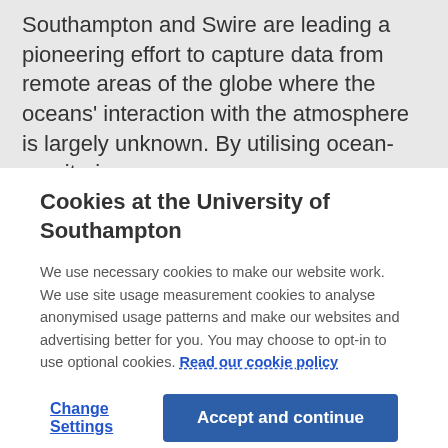Southampton and Swire are leading a pioneering effort to capture data from remote areas of the globe where the oceans' interaction with the atmosphere is largely unknown. By utilising ocean-monitoring
Cookies at the University of Southampton
We use necessary cookies to make our website work. We use site usage measurement cookies to analyse anonymised usage patterns and make our websites and advertising better for you. You may choose to opt-in to use optional cookies. Read our cookie policy
Change Settings
Accept and continue